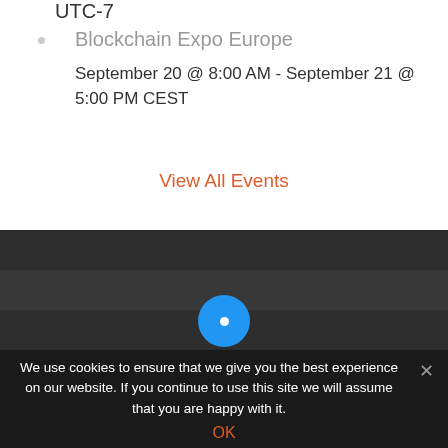UTC-7
Blockchain Expo Europe
September 20 @ 8:00 AM - September 21 @ 5:00 PM CEST
View All Events
We use cookies to ensure that we give you the best experience on our website. If you continue to use this site we will assume that you are happy with it.
OK